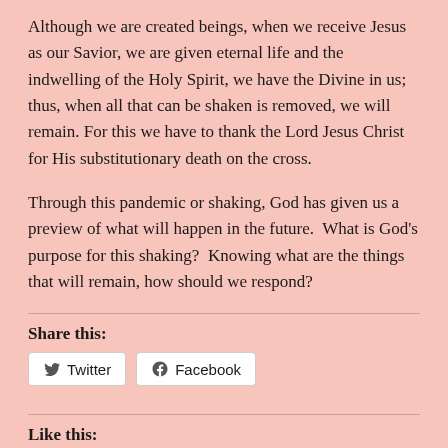Although we are created beings, when we receive Jesus as our Savior, we are given eternal life and the indwelling of the Holy Spirit, we have the Divine in us; thus, when all that can be shaken is removed, we will remain. For this we have to thank the Lord Jesus Christ for His substitutionary death on the cross.
Through this pandemic or shaking, God has given us a preview of what will happen in the future.  What is God’s purpose for this shaking?  Knowing what are the things that will remain, how should we respond?
Share this:
Like this: